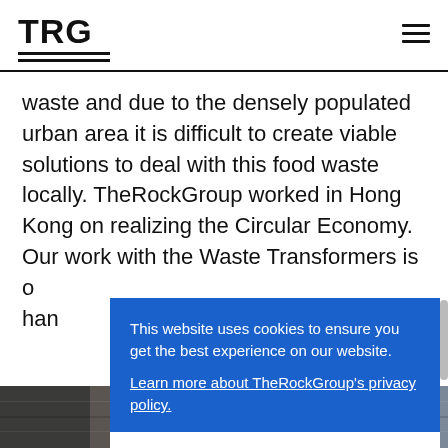TRG
waste and due to the densely populated urban area it is difficult to create viable solutions to deal with this food waste locally. TheRockGroup worked in Hong Kong on realizing the Circular Economy. Our work with the Waste Transformers is o... han...
This website uses cookies to ensure you get the best experience on our website. Learn more about TheRockGroup's privacy policy.
Thanks, got it!
[Figure (photo): Photo strip at bottom showing waste/recycling materials]